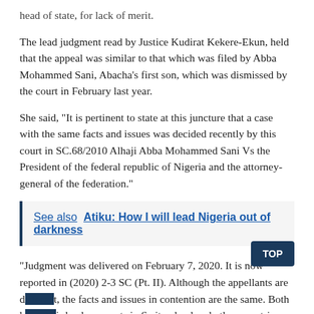head of state, for lack of merit.
The lead judgment read by Justice Kudirat Kekere-Ekun, held that the appeal was similar to that which was filed by Abba Mohammed Sani, Abacha's first son, which was dismissed by the court in February last year.
She said, “It is pertinent to state at this juncture that a case with the same facts and issues was decided recently by this court in SC.68/2010 Alhaji Abba Mohammed Sani Vs the President of the federal republic of Nigeria and the attorney-general of the federation.”
See also  Atiku: How I will lead Nigeria out of darkness
“Judgment was delivered on February 7, 2020. It is now reported in (2020) 2-3 SC (Pt. II). Although the appellants are d—t, the facts and issues in contention are the same. Both h—ir bank accounts in Switzerland and other countries frozen as a result of the authorisation given to the Swiss law firm by the